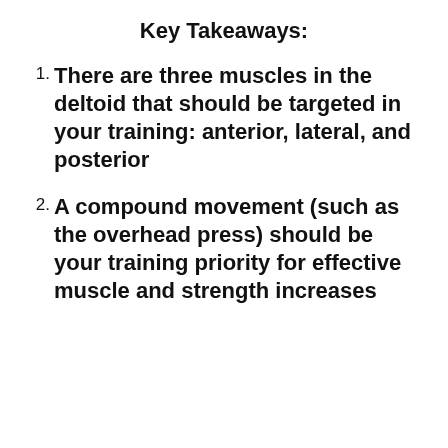Key Takeaways:
There are three muscles in the deltoid that should be targeted in your training: anterior, lateral, and posterior
A compound movement (such as the overhead press) should be your training priority for effective muscle and strength increases